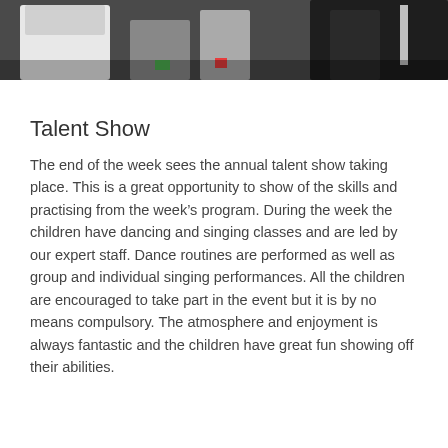[Figure (photo): Photograph of children/people at an outdoor event, cropped to show upper portion of figures against a dark background]
Talent Show
The end of the week sees the annual talent show taking place. This is a great opportunity to show of the skills and practising from the week’s program. During the week the children have dancing and singing classes and are led by our expert staff. Dance routines are performed as well as group and individual singing performances. All the children are encouraged to take part in the event but it is by no means compulsory. The atmosphere and enjoyment is always fantastic and the children have great fun showing off their abilities.